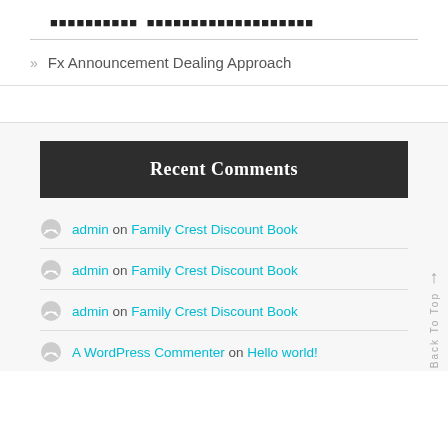▪▪▪▪▪▪▪▪▪▪ ▪▪▪▪▪▪▪▪▪▪▪▪▪▪▪▪▪▪▪
» Fx Announcement Dealing Approach
Recent Comments
admin on Family Crest Discount Book
admin on Family Crest Discount Book
admin on Family Crest Discount Book
A WordPress Commenter on Hello world!